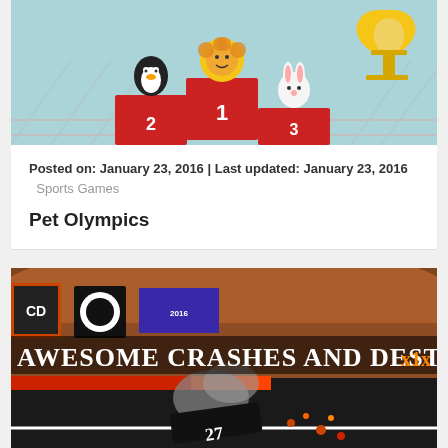[Figure (illustration): Cartoon animal characters on an Olympic podium (penguin on 2nd place, lion on 1st, rabbit on 3rd) with a gold trophy on the right, against a grey/teal track background.]
Posted on: January 23, 2016 | Last updated: January 23, 2016  Sports Games
Pet Olympics
[Figure (screenshot): Screenshot of a demolition derby / crash racing game with text overlay reading 'AWESOME CRASHES AND DESTRUCTIONS', showing cars crashing on a stadium track with smoke and debris.]